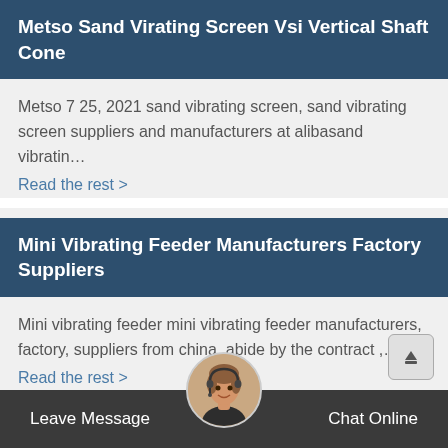Metso Sand Virating Screen Vsi Vertical Shaft Cone
Metso 7 25, 2021 sand vibrating screen, sand vibrating screen suppliers and manufacturers at alibasand vibratin…
Read the rest >
Mini Vibrating Feeder Manufacturers Factory Suppliers
Mini vibrating feeder mini vibrating feeder manufacturers, factory, suppliers from china, abide by the contract ,…
Read the rest >
Leave Message   Chat Online